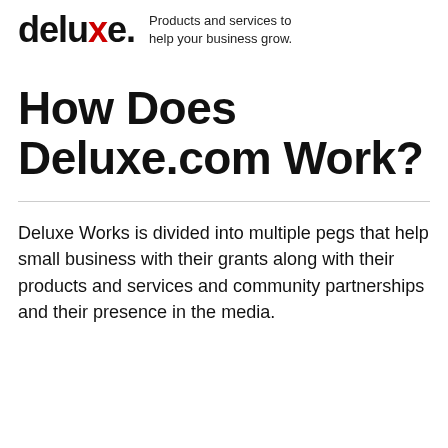[Figure (logo): Deluxe logo with stylized lowercase 'deluxe.' text and tagline 'Products and services to help your business grow.']
How Does Deluxe.com Work?
Deluxe Works is divided into multiple pegs that help small business with their grants along with their products and services and community partnerships and their presence in the media.